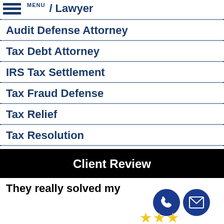/ Lawyer
Audit Defense Attorney
Tax Debt Attorney
IRS Tax Settlement
Tax Fraud Defense
Tax Relief
Tax Resolution
Client Review
They really solved my